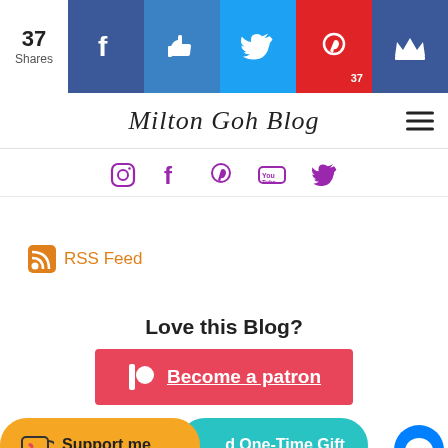37 Shares | Share buttons: Facebook, Like, Twitter, Pinterest (37), Crown
Milton Goh Blog
[Figure (infographic): Social media icons row: Instagram, Facebook, Pinterest, YouTube, Twitter in purple]
[Figure (other): RSS Feed icon with orange background and RSS Feed text link]
Love this Blog?
[Figure (infographic): Become a patron button (red/pink background, Patreon logo circle, underlined text)]
[Figure (infographic): Support me (Ko-fi, yellow/orange button) and Send One-Time Gift (teal button) side by side; Messenger blue circle button on right]